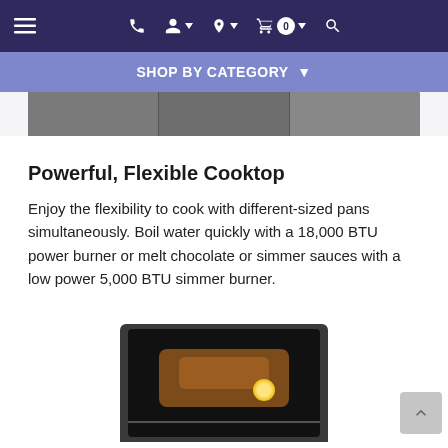Navigation bar with menu, phone, account, location, cart (0), and search icons
SHOP BY CATEGORY ▾
[Figure (photo): Partial top image of a cooktop or appliance surface, showing grid sections in dark gray]
Powerful, Flexible Cooktop
Enjoy the flexibility to cook with different-sized pans simultaneously. Boil water quickly with a 18,000 BTU power burner or melt chocolate or simmer sauces with a low power 5,000 BTU simmer burner.
[Figure (photo): Partial bottom image of an oven interior with a roasting chicken and illuminated oven light]